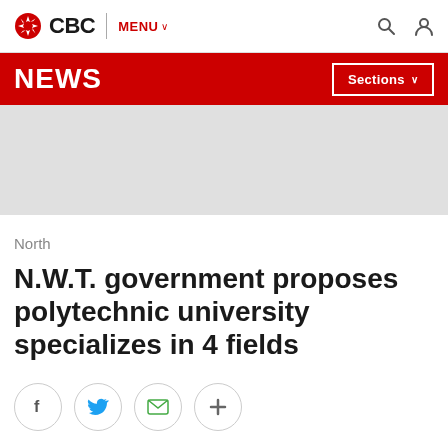CBC | MENU
NEWS | Sections
[Figure (other): Grey advertisement placeholder banner]
North
N.W.T. government proposes polytechnic university specializes in 4 fields
[Figure (other): Social share buttons: Facebook, Twitter, Email, More (+)]